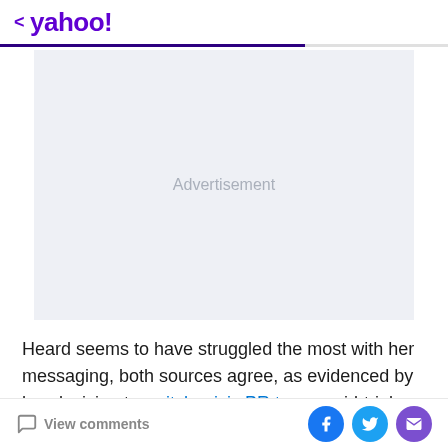< yahoo!
[Figure (other): Advertisement placeholder box with light gray background and 'Advertisement' text in center]
Heard seems to have struggled the most with her messaging, both sources agree, as evidenced by her decision to switch crisis PR teams mid-trial. "You can
View comments | Facebook | Twitter | Email